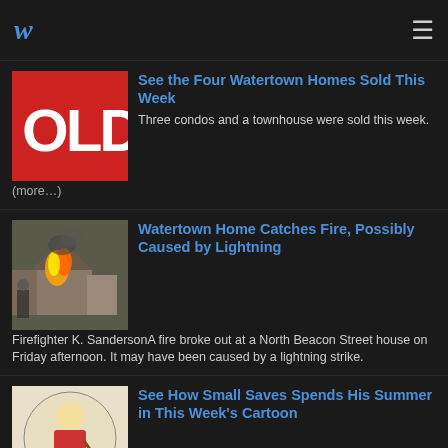w ☰
[Figure (photo): Red SOLD sign image thumbnail]
See the Four Watertown Homes Sold This Week
Three condos and a townhouse were sold this week. (more…)
[Figure (photo): Firefighter K. Sanderson photo of house fire]
Watertown Home Catches Fire, Possibly Caused by Lightning
Firefighter K. SandersonA fire broke out at a North Beacon Street house on Friday afternoon. It may have been caused by a lightning strike.
[Figure (logo): smallsaves.com logo with cartoon goaltender]
See How Small Saves Spends His Summer in This Week's Cartoon
James DeMarco grew up in Watertown and became a goaltender at age 5. It's his life's passion to stand between the